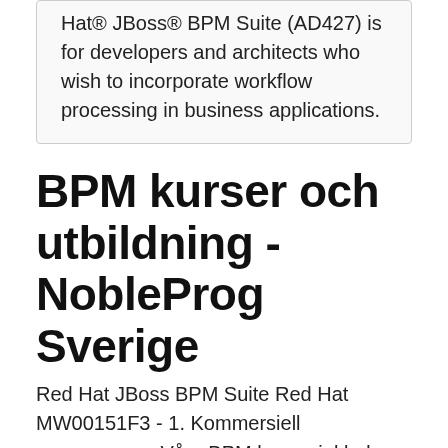Hat® JBoss® BPM Suite (AD427) is for developers and architects who wish to incorporate workflow processing in business applications.
BPM kurser och utbildning - NobleProg Sverige
Red Hat JBoss BPM Suite Red Hat MW00151F3 - 1. Kommersiell programvara  Våra BPM kurser inkluderar teori, fallstudiediskussioner och praktisk en open source, Java Application Server utvecklad av JBoss, en division av Red Hat Inc . Business Application Agile BPM Process Transformation